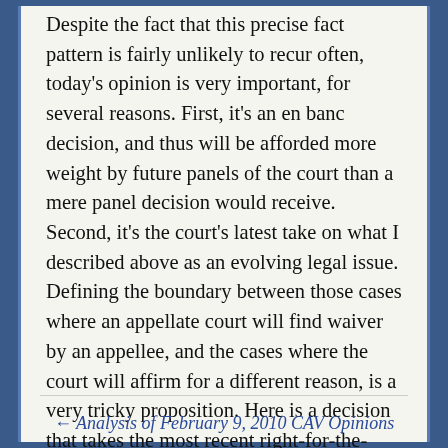Despite the fact that this precise fact pattern is fairly unlikely to recur often, today's opinion is very important, for several reasons. First, it's an en banc decision, and thus will be afforded more weight by future panels of the court than a mere panel decision would receive. Second, it's the court's latest take on what I described above as an evolving legal issue. Defining the boundary between those cases where an appellate court will find waiver by an appellee, and the cases where the court will affirm for a different reason, is a very tricky proposition. Here is a decision that takes the most recent right-for-the-wrong-reason caselaw and expands upon it (incorrectly, if you agree with the dissent).
← Analysis of February 9, 2010 CAV Opinions